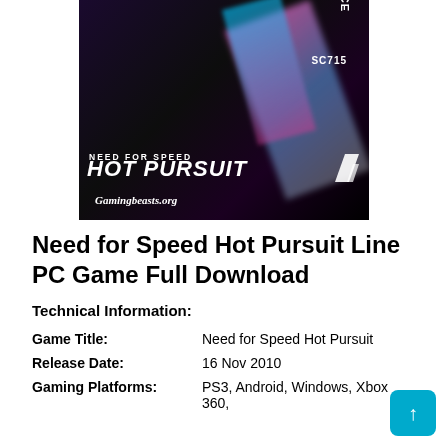[Figure (illustration): Need for Speed Hot Pursuit game cover art with police car, colorful light streaks on dark background, and 'Gamingbeasts.org' watermark]
Need for Speed Hot Pursuit Line PC Game Full Download
Technical Information:
| Game Title: | Need for Speed Hot Pursuit |
| Release Date: | 16 Nov 2010 |
| Gaming Platforms: | PS3, Android, Windows, Xbox 360, |